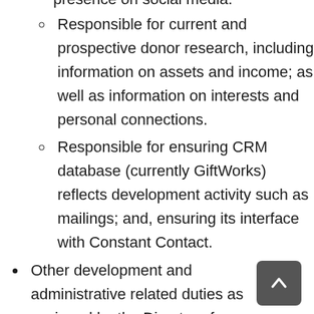presence on social media.
Responsible for current and prospective donor research, including information on assets and income; as well as information on interests and personal connections.
Responsible for ensuring CRM database (currently GiftWorks) reflects development activity such as mailings; and, ensuring its interface with Constant Contact.
Other development and administrative related duties as assigned by the Director of